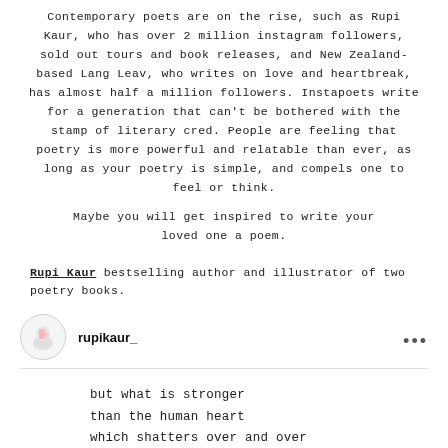Contemporary poets are on the rise, such as Rupi Kaur, who has over 2 million instagram followers, sold out tours and book releases, and New Zealand-based Lang Leav, who writes on love and heartbreak, has almost half a million followers. Instapoets write for a generation that can't be bothered with the stamp of literary cred. People are feeling that poetry is more powerful and relatable than ever, as long as your poetry is simple, and compels one to feel or think.
Maybe you will get inspired to write your loved one a poem.
Rupi Kaur bestselling author and illustrator of two poetry books.
[Figure (screenshot): Instagram post header showing rupikaur_ username with avatar circle and three-dot menu]
but what is stronger
than the human heart
which shatters over and over
and lives